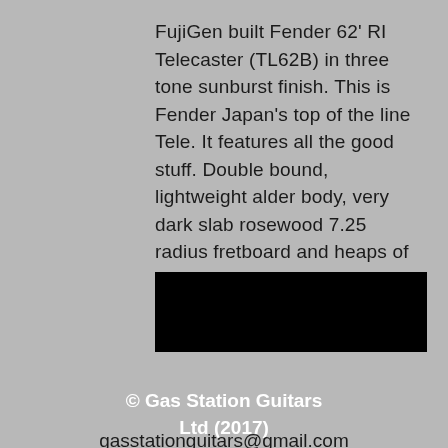FujiGen built Fender 62' RI Telecaster (TL62B) in three tone sunburst finish. This is Fender Japan's top of the line Tele. It features all the good stuff. Double bound, lightweight alder body, very dark slab rosewood 7.25 radius fretboard and heaps of vintage mojo. It's an MIJ N-Serial
[Figure (other): Black redacted bar covering text or image]
© Gas Station Guitars Ltd (2017)
gasstationguitars@gmail.com